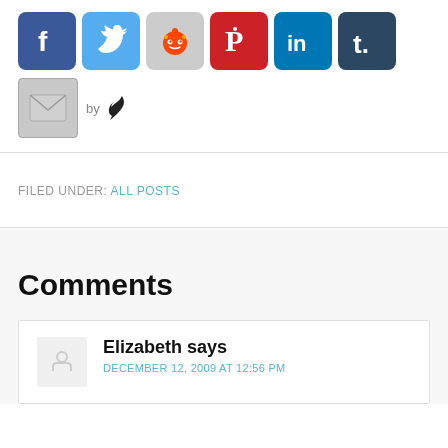[Figure (screenshot): Social sharing icons row: Facebook (blue), Twitter (light blue), Reddit (gray), Pinterest (red), LinkedIn (dark blue), Tumblr (dark blue-gray)]
[Figure (screenshot): Email share icon (gray envelope) followed by 'by' text and a feather logo]
FILED UNDER: ALL POSTS
Comments
Elizabeth says
DECEMBER 12, 2009 AT 12:56 PM